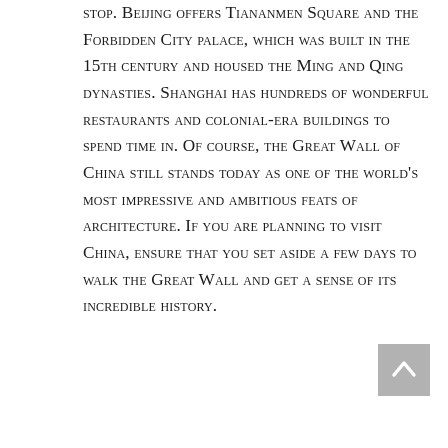stop. Beijing offers Tiananmen Square and the Forbidden City palace, which was built in the 15th century and housed the Ming and Qing dynasties. Shanghai has hundreds of wonderful restaurants and colonial-era buildings to spend time in. Of course, the Great Wall of China still stands today as one of the world's most impressive and ambitious feats of architecture. If you are planning to visit China, ensure that you set aside a few days to walk the Great Wall and get a sense of its incredible history.